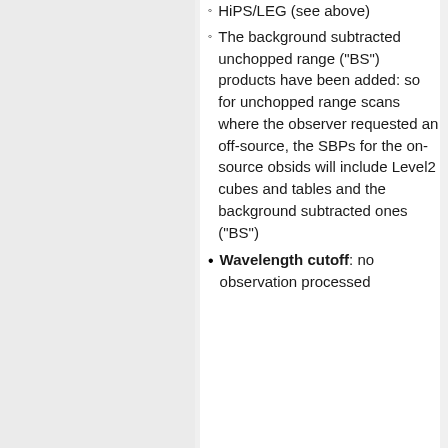HiPS/LEG (see above)
The background subtracted unchopped range ("BS") products have been added: so for unchopped range scans where the observer requested an off-source, the SBPs for the on-source obsids will include Level2 cubes and tables and the background subtracted ones ("BS")
Wavelength cutoff: no observation processed